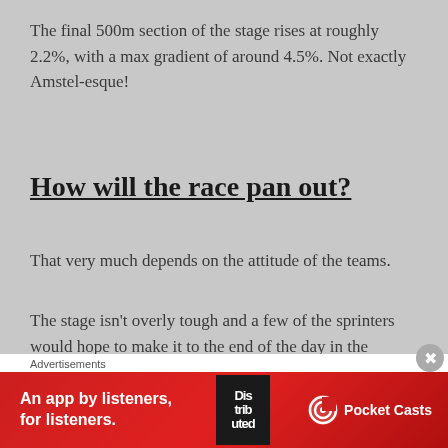The final 500m section of the stage rises at roughly 2.2%, with a max gradient of around 4.5%. Not exactly Amstel-esque!
How will the race pan out?
That very much depends on the attitude of the teams.
The stage isn't overly tough and a few of the sprinters would hope to make it to the end of the day in the peloton. However, the 140-155km section is key. If some of the teams go crazy here, (looking at you Etixx!), then this could put an end to the sprinters
Advertisements
[Figure (other): Advertisement banner for Pocket Casts app — red background with book image and text 'An app by listeners, for listeners.' with Pocket Casts logo]